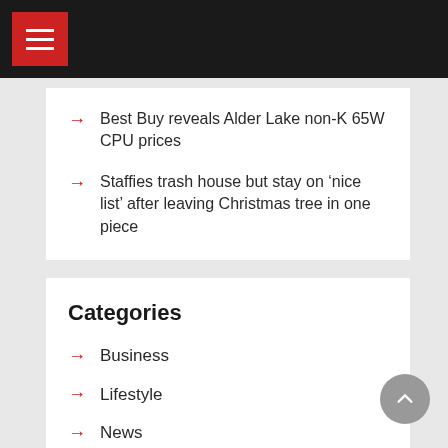Navigation menu header bar
Best Buy reveals Alder Lake non-K 65W CPU prices
Staffies trash house but stay on ‘nice list’ after leaving Christmas tree in one piece
Categories
Business
Lifestyle
News
Sport
Technology